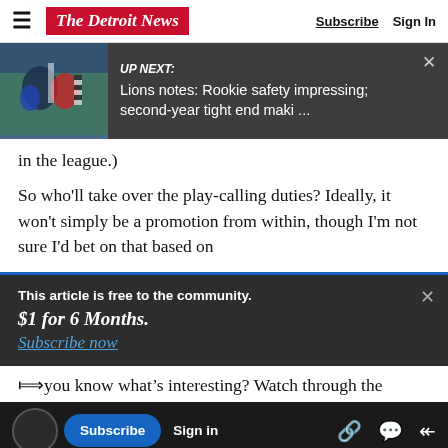The Detroit News | Subscribe | Sign In
[Figure (screenshot): UP NEXT banner with football game photo. Text: UP NEXT: Lions notes: Rookie safety impressing; second-year tight end maki ...]
in the league.)
So who’ll take over the play-calling duties? Ideally, it won't simply be a promotion from within, though I'm not sure I'd bet on that based on
This article is free to the community.
$1 for 6 Months.
Subscribe now
you know what’s interesting? Watch through the
playoffs are teams that run the ball,’ Patricia said